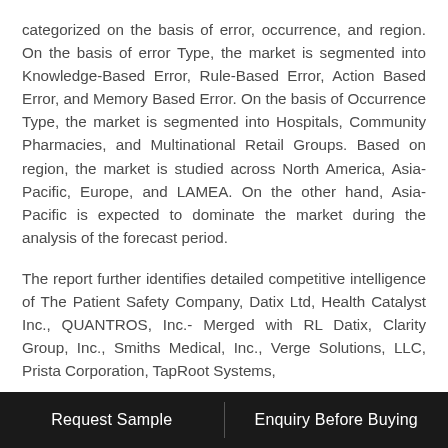categorized on the basis of error, occurrence, and region. On the basis of error Type, the market is segmented into Knowledge-Based Error, Rule-Based Error, Action Based Error, and Memory Based Error. On the basis of Occurrence Type, the market is segmented into Hospitals, Community Pharmacies, and Multinational Retail Groups. Based on region, the market is studied across North America, Asia-Pacific, Europe, and LAMEA. On the other hand, Asia-Pacific is expected to dominate the market during the analysis of the forecast period.
The report further identifies detailed competitive intelligence of The Patient Safety Company, Datix Ltd, Health Catalyst Inc., QUANTROS, Inc.- Merged with RL Datix, Clarity Group, Inc., Smiths Medical, Inc., Verge Solutions, LLC, Prista Corporation, TapRoot Systems,
Request Sample   Enquiry Before Buying